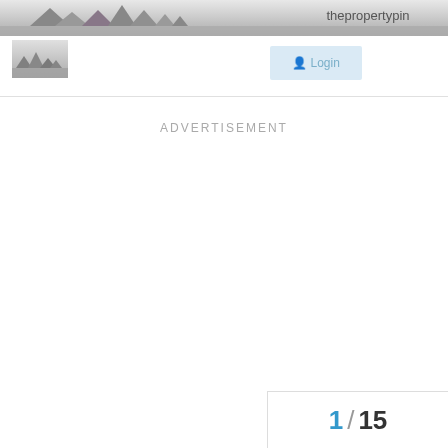thepropertypin
[Figure (photo): Small pyramid/skyline logo image in sub-header]
[Figure (screenshot): Login button in light blue]
ADVERTISEMENT
1 / 15